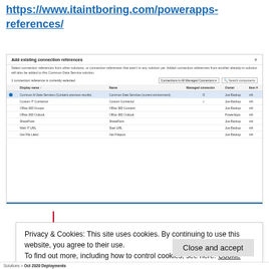https://www.itaintboring.com/powerapps-references/
[Figure (screenshot): Screenshot of 'Add existing connection references' dialog in Power Apps. Shows a table listing connections including Common Data Service, Canvas IT Connector, Office 365 Groups, Office 365 Outlook, SharePoint, Web IT URL, and Get File Liked. Each row has Display name, Name, Managed connector, Owner, and Item# columns. One row is highlighted in blue.]
Privacy & Cookies: This site uses cookies. By continuing to use this website, you agree to their use.
To find out more, including how to control cookies, see here: Cookie Policy
Close and accept
Solutions > Oct 2020 Deployments